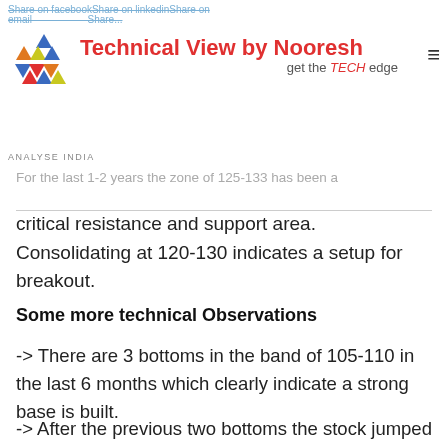Share on facebookShare on linkedinShare on emailShare on twitter Share on...
Technical View by Nooresh — get the TECH edge | ANALYSE INDIA
For the last 1-2 years the zone of 125-133 has been a critical resistance and support area. Consolidating at 120-130 indicates a setup for breakout.
Some more technical Observations
-> There are 3 bottoms in the band of 105-110 in the last 6 months which clearly indicate a strong base is built.
-> After the previous two bottoms the stock jumped back sharply to 125-135 band but could not sustain for a couple of weeks also.